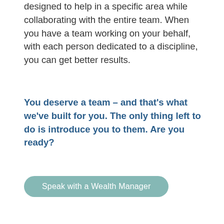designed to help in a specific area while collaborating with the entire team. When you have a team working on your behalf, with each person dedicated to a discipline, you can get better results.
You deserve a team – and that's what we've built for you. The only thing left to do is introduce you to them. Are you ready?
Speak with a Wealth Manager